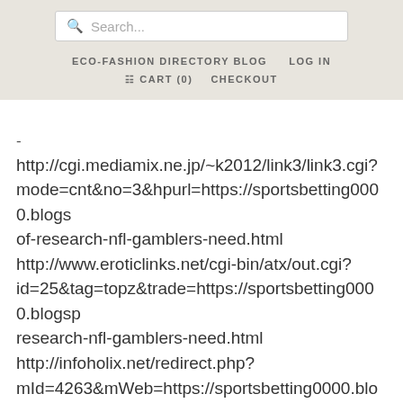[Figure (screenshot): Website header with search bar, navigation links for ECO-FASHION DIRECTORY BLOG and LOG IN, and CART (0) / CHECKOUT links on a beige/tan background]
http://cgi.mediamix.ne.jp/~k2012/link3/link3.cgi?mode=cnt&no=3&hpurl=https://sportsbetting0000.blogs of-research-nfl-gamblers-need.html http://www.eroticlinks.net/cgi-bin/atx/out.cgi?id=25&tag=topz&trade=https://sportsbetting0000.blogsp research-nfl-gamblers-need.html http://infoholix.net/redirect.php?mId=4263&mWeb=https://sportsbetting0000.blogspot.c research-nfl-gamblers-need.html http://www.matatabix.net/out/click3.cgi?cnt=eroshocker&url=https://sportsbetting0000.blogspot research-nfl-gamblers-need.html http://www.ratsoff.net/blog/nav?